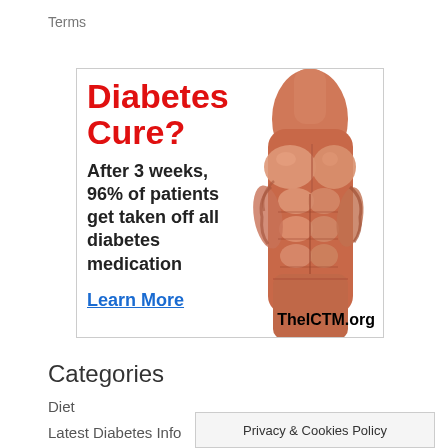Terms
[Figure (illustration): Advertisement banner showing an anatomical muscle illustration of a human torso. Text reads: 'Diabetes Cure? After 3 weeks, 96% of patients get taken off all diabetes medication. Learn More. TheICTM.org']
Categories
Diet
Latest Diabetes Info
Privacy & Cookies Policy